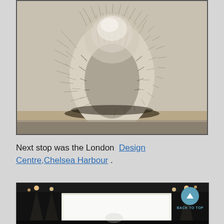[Figure (photo): Black and white photograph of a large furry bird or animal sculpture viewed from behind, against a light background, displayed behind glass with a dark frame border.]
Next stop was the London Design Centre,Chelsea Harbour .
[Figure (photo): Interior of London Design Centre, Chelsea Harbour showing dark ceiling with spotlights and a large white illuminated display panel/counter. A 'Back to Top' button with a teal circle and upward triangle arrow appears in the top-right corner.]